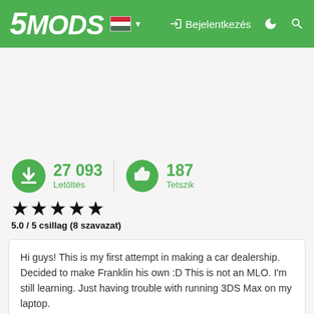5MODS — Bejelentkezés
27 093 Letöltés   187 Tetszik
5.0 / 5 csillag (8 szavazat)
Hi guys! This is my first attempt in making a car dealership. Decided to make Franklin his own :D This is not an MLO. I'm still learning. Just having trouble with running 3DS Max on my laptop.

REQUIREMENTS:
MAP EDITOR by Guadmaz - https://www.gta5-mods.com/scripts/map-editor